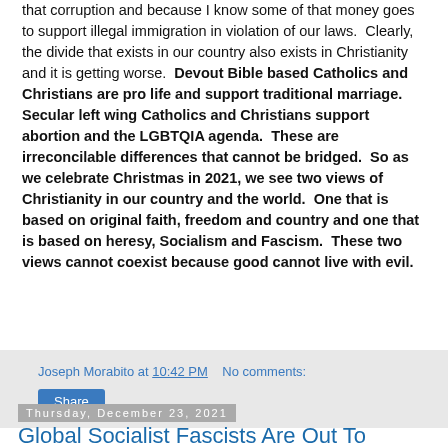that corruption and because I know some of that money goes to support illegal immigration in violation of our laws.  Clearly, the divide that exists in our country also exists in Christianity and it is getting worse.  Devout Bible based Catholics and Christians are pro life and support traditional marriage.  Secular left wing Catholics and Christians support abortion and the LGBTQIA agenda.  These are irreconcilable differences that cannot be bridged.  So as we celebrate Christmas in 2021, we see two views of Christianity in our country and the world.  One that is based on original faith, freedom and country and one that is based on heresy, Socialism and Fascism.  These two views cannot coexist because good cannot live with evil.
Joseph Morabito at 10:42 PM   No comments:
Share
Thursday, December 23, 2021
Global Socialist Fascists Are Out To